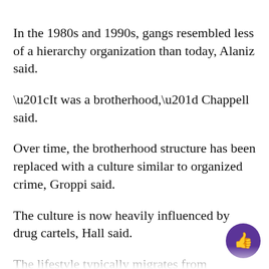In the 1980s and 1990s, gangs resembled less of a hierarchy organization than today, Alaniz said.
“It was a brotherhood,” Chappell said.
Over time, the brotherhood structure has been replaced with a culture similar to organized crime, Groppi said.
The culture is now heavily influenced by drug cartels, Hall said.
The lifestyle typically migrates from California.
“Everything starts there,” Alaniz said.
But, despite the California influences, Fort Worth has its own persona and lifestyle, Hall said.
“The traditional gang is gone,” Hall said. “Gang…